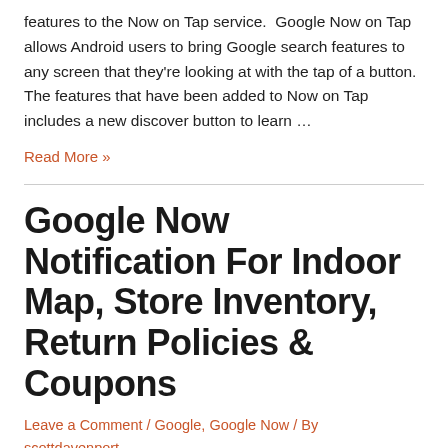features to the Now on Tap service.  Google Now on Tap allows Android users to bring Google search features to any screen that they're looking at with the tap of a button. The features that have been added to Now on Tap includes a new discover button to learn …
Read More »
Google Now Notification For Indoor Map, Store Inventory, Return Policies & Coupons
Leave a Comment / Google, Google Now / By scottdavenport
At this point in Google's timeline, Google Now is pretty